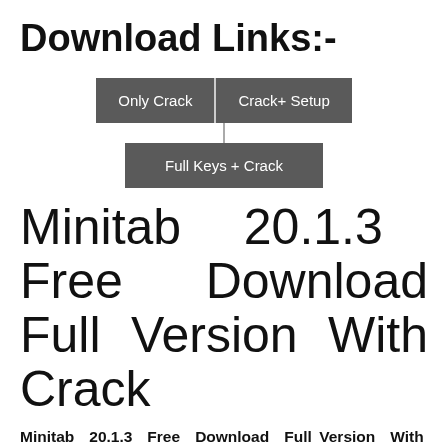Download Links:-
[Figure (infographic): Three grey buttons: 'Only Crack', 'Crack+ Setup' side by side, and 'Full Keys + Crack' below them, connected by a vertical line.]
Minitab 20.1.3 Free Download Full Version With Crack
Minitab 20.1.3 Free Download Full Version With Crack helps companies and institutions identify trends, solve problems. And find valuable information by providing a comprehensive and best-in-class tool for machine learning, statistical analysis, and